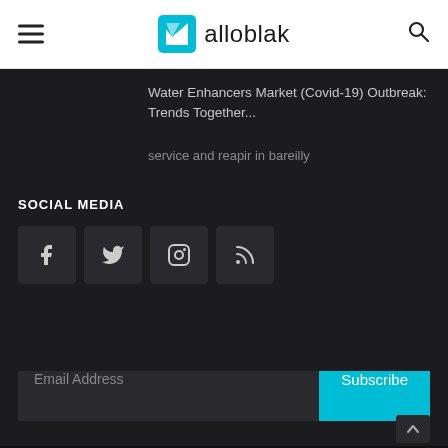alloblak
Water Enhancers Market (Covid-19) Outbreak: Trends Together...
service and reapir in bareilly
SOCIAL MEDIA
[Figure (other): Social media icons: Facebook, Twitter, Instagram, RSS feed]
Email Address
Subscribe